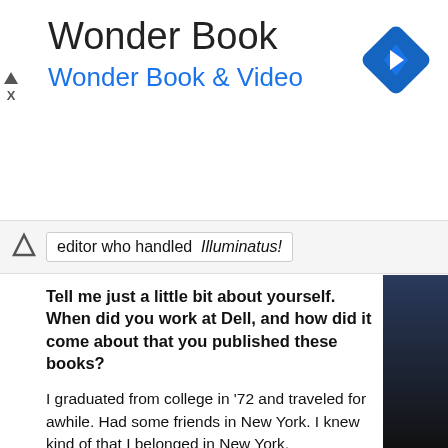[Figure (logo): Wonder Book advertisement banner with blue diamond navigation icon]
Wonder Book
Wonder Book & Video
editor who handled  Illuminatus!
Tell me just a little bit about yourself. When did you work at Dell, and how did it come about that you published these books?
I graduated from college in '72 and traveled for awhile. Had some friends in New York. I knew kind of that I belonged in New York.
I was always a writer/English major kind of guy. So I went to Ne... some jobs -- you know, first job out of college, real job. The one... level position as publicity associate at Dell Books. I worked the... publicity, and became friends with a guy named David Harris, w... editor there at the time.
I've interviewed Mr. Harris, too.